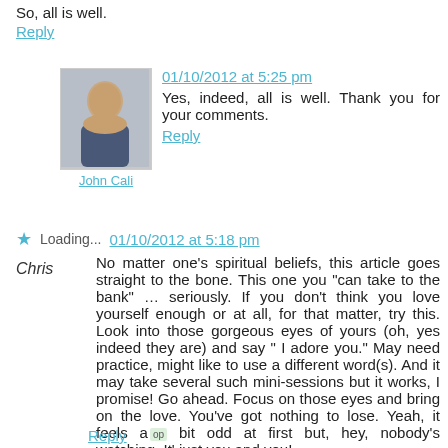So, all is well.
Reply
[Figure (photo): Avatar photo of John Cali, older man smiling, with loading star icon overlay]
John Cali
01/10/2012 at 5:25 pm
Yes, indeed, all is well. Thank you for your comments.
Reply
Loading...  01/10/2012 at 5:18 pm
Chris
No matter one’s spiritual beliefs, this article goes straight to the bone. This one you “can take to the bank” … seriously. If you don’t think you love yourself enough or at all, for that matter, try this. Look into those gorgeous eyes of yours (oh, yes indeed they are) and say “ I adore you.” May need practice, might like to use a different word(s). And it may take several such mini-sessions but it works, I promise! Go ahead. Focus on those eyes and bring on the love. You’ve got nothing to lose. Yeah, it feels a bit odd at first but, hey, nobody’s watching. It’ just you and you!
Reply